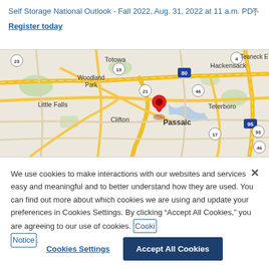Self Storage National Outlook - Fall 2022, Aug. 31, 2022 at 11 a.m. PDT
Register today
[Figure (map): Google Maps view centered on Passaic, NJ area showing Totowa, Woodland Park, Little Falls, Clifton, Hackensack, Teaneck, Teterboro and surrounding roads including highways 80, 95, 46, 21, 19, 23, 17, 93. A red location pin marks Passaic.]
We use cookies to make interactions with our websites and services easy and meaningful and to better understand how they are used. You can find out more about which cookies we are using and update your preferences in Cookies Settings. By clicking "Accept All Cookies," you are agreeing to our use of cookies. Cookie Notice
Cookies Settings
Accept All Cookies